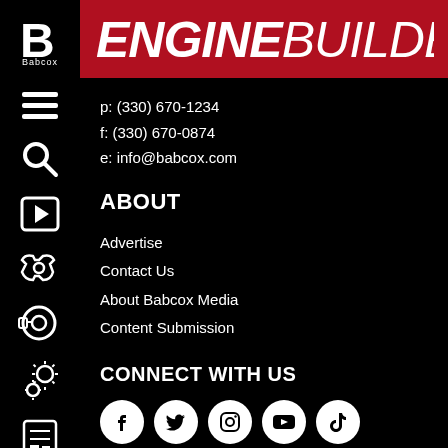ENGINE BUILDER
p: (330) 670-1234
f: (330) 670-0874
e: info@babcox.com
ABOUT
Advertise
Contact Us
About Babcox Media
Content Submission
CONNECT WITH US
[Figure (logo): Social media icons: Facebook, Twitter, Instagram, YouTube, TikTok]
[Figure (logo): Babcox oval logo in blue and white]